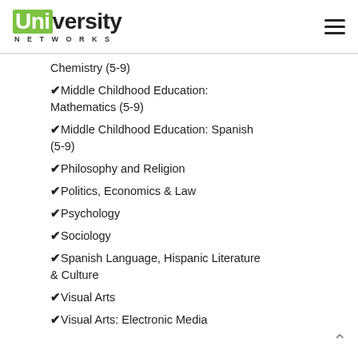University Networks
Chemistry (5-9)
✔Middle Childhood Education: Mathematics (5-9)
✔Middle Childhood Education: Spanish (5-9)
✔Philosophy and Religion
✔Politics, Economics & Law
✔Psychology
✔Sociology
✔Spanish Language, Hispanic Literature & Culture
✔Visual Arts
✔Visual Arts: Electronic Media